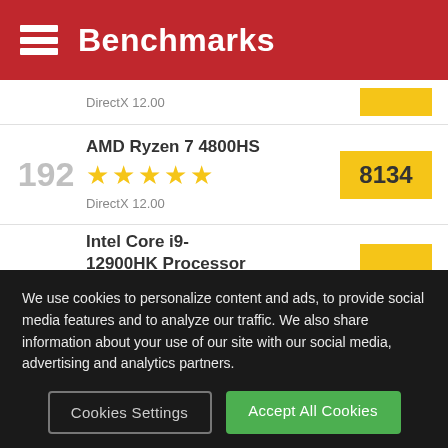Benchmarks
DirectX 12.00
192  AMD Ryzen 7 4800HS  ★★★★★  DirectX 12.00  8134
Intel Core i9-12900HK Processor
We use cookies to personalize content and ads, to provide social media features and to analyze our traffic. We also share information about your use of our site with our social media, advertising and analytics partners.
Cookies Settings
Accept All Cookies